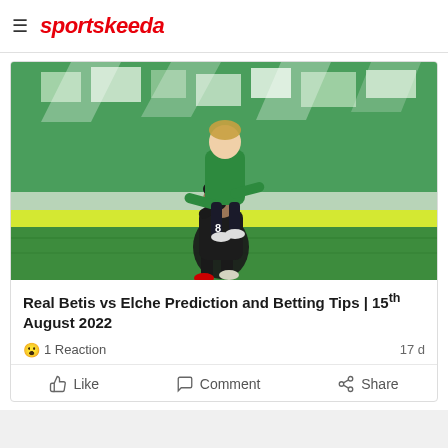sportskeeda
[Figure (photo): Two football players in green Real Betis kits celebrating on the pitch, one player giving another a piggyback ride, with green and white stadium seats in the background.]
Real Betis vs Elche Prediction and Betting Tips | 15th August 2022
😮 1 Reaction   17 d
👍 Like   💬 Comment   ➦ Share